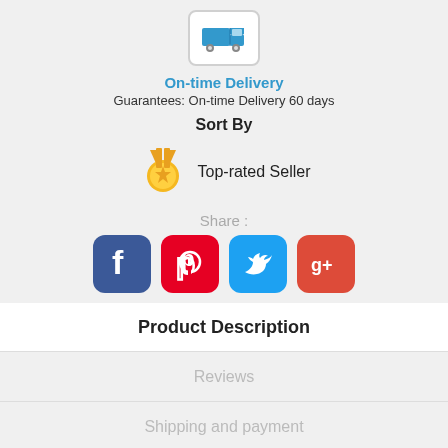[Figure (illustration): Truck delivery icon in a rounded rectangle box]
On-time Delivery
Guarantees: On-time Delivery 60 days
Sort By
[Figure (illustration): Gold/orange award medal ribbon icon for Top-rated Seller]
Top-rated Seller
Share :
[Figure (infographic): Social media share icons: Facebook, Pinterest, Twitter, Google+]
Product Description
Reviews
Shipping and payment
Seller Guarantees